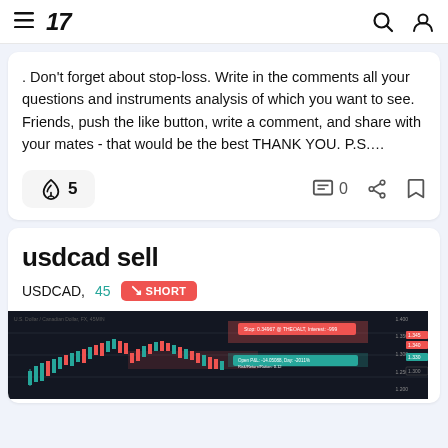TradingView navigation bar
. Don't forget about stop-loss. Write in the comments all your questions and instruments analysis of which you want to see. Friends, push the like button, write a comment, and share with your mates - that would be the best THANK YOU. P.S....
usdcad sell
USDCAD, 45  SHORT
[Figure (screenshot): TradingView chart preview of USDCAD showing a dark-themed candlestick chart with short trade setup annotations]